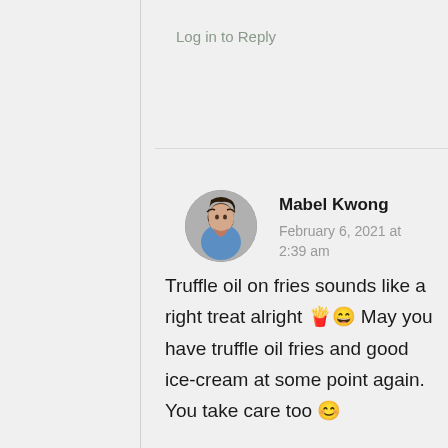Log in to Reply
[Figure (photo): Circular avatar photo of Mabel Kwong, a young Asian woman with dark hair, wearing a blue top]
Mabel Kwong
February 6, 2021 at 2:39 am
Truffle oil on fries sounds like a right treat alright 🍟😄 May you have truffle oil fries and good ice-cream at some point again. You take care too 😊